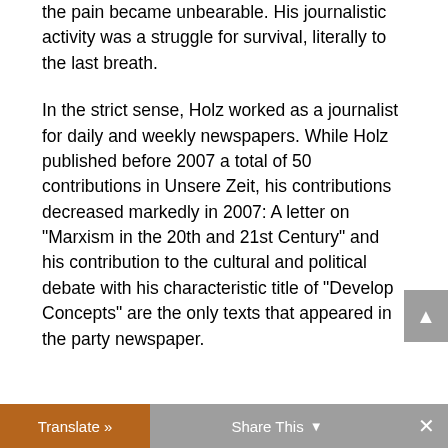the pain became unbearable. His journalistic activity was a struggle for survival, literally to the last breath.
In the strict sense, Holz worked as a journalist for daily and weekly newspapers. While Holz published before 2007 a total of 50 contributions in Unsere Zeit, his contributions decreased markedly in 2007: A letter on "Marxism in the 20th and 21st Century" and his contribution to the cultural and political debate with his characteristic title of "Develop Concepts" are the only texts that appeared in the party newspaper.